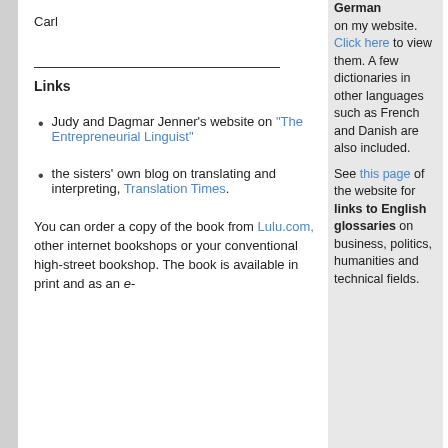Carl
Links
Judy and Dagmar Jenner's website on "The Entrepreneurial Linguist"
the sisters' own blog on translating and interpreting, Translation Times.
You can order a copy of the book from Lulu.com, other internet bookshops or your conventional high-street bookshop. The book is available in print and as an e-
German on my website. Click here to view them. A few dictionaries in other languages such as French and Danish are also included.
See this page of the website for links to English glossaries on business, politics, humanities and technical fields.